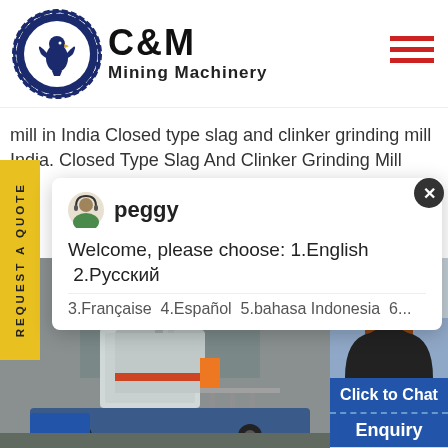[Figure (logo): C&M Mining Machinery logo with eagle/gear icon in dark blue circle and bold text]
mill in India Closed type slag and clinker grinding mill India. Closed Type Slag And Clinker Grinding Mill
[Figure (screenshot): Chat popup with avatar of 'peggy', message: Welcome, please choose: 1.English 2.Русский 3.Française 4.Español 5.bahasa Indonesia 6...]
[Figure (photo): Industrial mining machinery/mobile plant equipment photograph]
[Figure (photo): Customer service representative woman with headset, teal circle with number 1, Click to Chat button, Enquiry button]